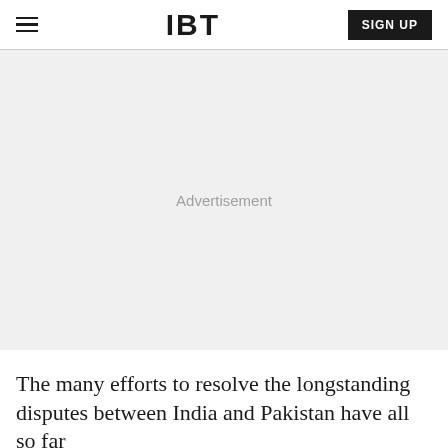IBT
[Figure (other): Advertisement placeholder box with light gray background and 'Advertisement' text in center]
The many efforts to resolve the longstanding disputes between India and Pakistan have all so far